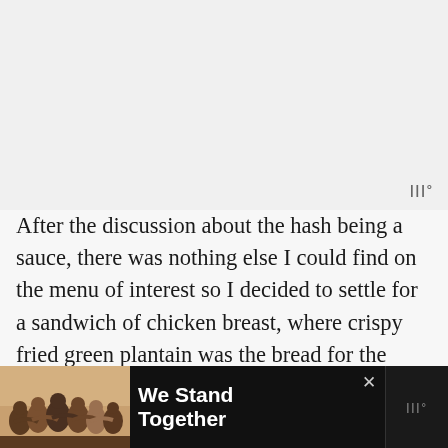[Figure (screenshot): App top bar with menu icon (|||°) on upper right over gray background area]
After the discussion about the hash being a sauce, there was nothing else I could find on the menu of interest so I decided to settle for a sandwich of chicken breast, where crispy fried green plantain was the bread for the sandwich. My best friend is Dominican and I have been enjoying her Mom's food since I was a child. Nothing is cooked in Dominican cuisine without garlic, oregano and cilantro as the required ingredients. The chicken on the sandwich was seasoned with nothing but salt and pepper. The
[Figure (screenshot): Ad banner at bottom: photo of people with arms around each other, text 'We Stand Together', close X button, right logo area with app icon]